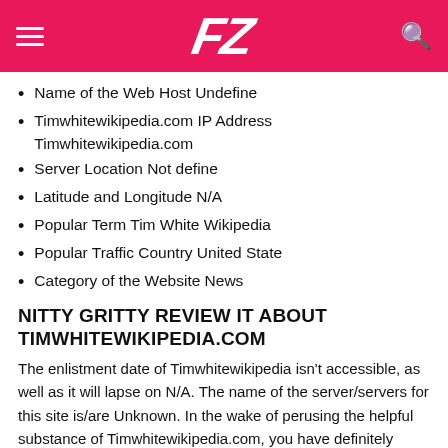FZ (logo)
Name of the Web Host Undefine
Timwhitewikipedia.com IP Address Timwhitewikipedia.com
Server Location Not define
Latitude and Longitude N/A
Popular Term Tim White Wikipedia
Popular Traffic Country United State
Category of the Website News
NITTY GRITTY REVIEW IT ABOUT TIMWHITEWIKIPEDIA.COM
The enlistment date of Timwhitewikipedia isn't accessible, as well as it will lapse on N/A. The name of the server/servers for this site is/are Unknown. In the wake of perusing the helpful substance of Timwhitewikipedia.com, you have definitely information about the Registrar's name which is N/A.